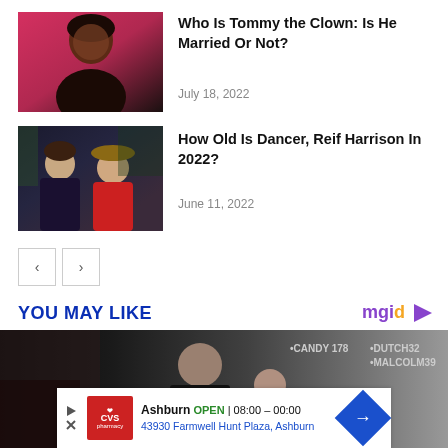[Figure (photo): Young Black woman selfie on pink background with Biography badge]
Who Is Tommy the Clown: Is He Married Or Not?
July 18, 2022
[Figure (photo): Two people posing, one in hat, dark background with Biography badge]
How Old Is Dancer, Reif Harrison In 2022?
June 11, 2022
< >
YOU MAY LIKE
[Figure (photo): Dark moody photo with man in black shirt, graffiti tags CANDY 178, DUTCH32, MALCOLM39 visible]
Ashburn OPEN | 08:00 – 00:00
43930 Farmwell Hunt Plaza, Ashburn